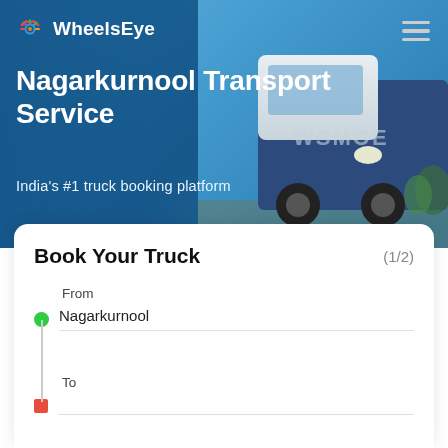WheelsEye
Nagarkurnool Transport Service
India's #1 truck booking platform
Book Your Truck (1/2)
From
Nagarkurnool
To